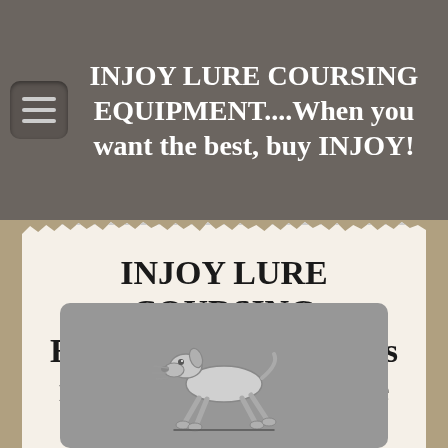INJOY LURE COURSING EQUIPMENT....When you want the best, buy INJOY!
INJOY LURE COURSING EQUIPMENT.....always made "In Joy"....cause we love what we do!
[Figure (illustration): Cartoon illustration of a running greyhound/whippet dog in gray tones on a gray background]